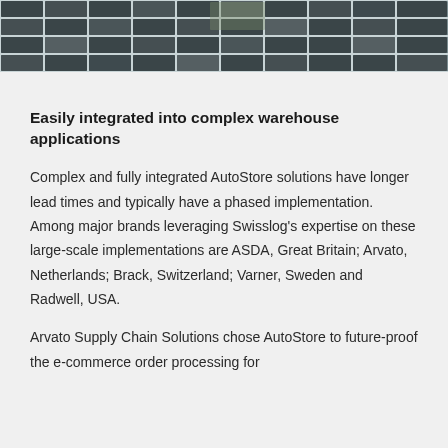[Figure (photo): Overhead view of AutoStore grid storage system with metal framework and dark containers]
Easily integrated into complex warehouse applications
Complex and fully integrated AutoStore solutions have longer lead times and typically have a phased implementation. Among major brands leveraging Swisslog's expertise on these large-scale implementations are ASDA, Great Britain; Arvato, Netherlands; Brack, Switzerland; Varner, Sweden and Radwell, USA.
Arvato Supply Chain Solutions chose AutoStore to future-proof the e-commerce order processing for